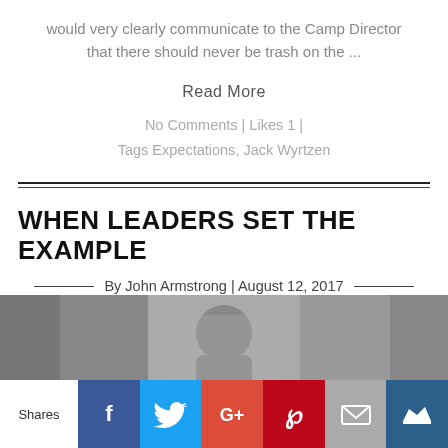would very clearly communicate to the Camp Director that there should never be trash on the ...
Read More
No Comments | Likes 1 | Tags Expectations, Jack Wyrtzen
WHEN LEADERS SET THE EXAMPLE
By John Armstrong | August 12, 2017
[Figure (photo): Grayscale photograph of a person, partially visible, upper portion showing]
Shares